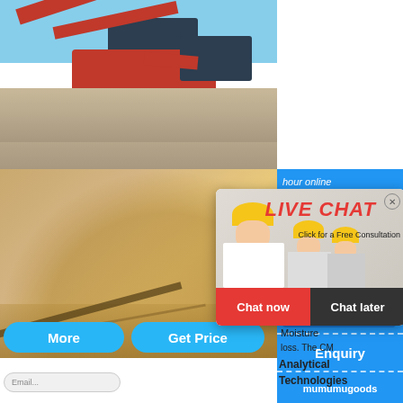[Figure (photo): Industrial mining/crushing machinery on a gravel site with blue sky background, red conveyor belts and equipment]
[Figure (photo): Sand or gravel material being processed, close-up of aggregate material flow]
[Figure (photo): Live chat popup overlay showing three workers in yellow hard hats, with LIVE CHAT heading in red italic text and 'Click for a Free Consultation' subtitle, Chat now (red) and Chat later (dark) buttons]
[Figure (photo): Right sidebar on blue background showing a jaw crusher machine image with 'hour online' text, 'Click me to chat>>' button, 'Enquiry' label, and 'mumumugoods' text]
Matrix
Moisture
loss. The CM
Analytical
Technologies
More
Get Price